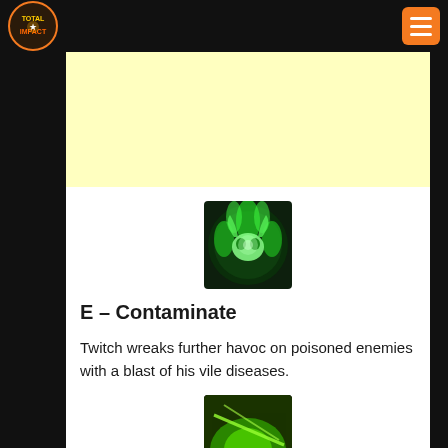[Figure (logo): Total Impact gaming website logo – colorful game character icon with yellow/orange text]
[Figure (other): Orange hamburger/menu button in top-right corner]
[Figure (other): Light yellow advertisement banner placeholder]
[Figure (illustration): League of Legends Twitch ability icon for Contaminate (E) – green glowing flame/skull icon on dark background]
E – Contaminate
Twitch wreaks further havoc on poisoned enemies with a blast of his vile diseases.
[Figure (illustration): Partial view of another ability icon at the bottom – green and yellow tones, partially cut off]